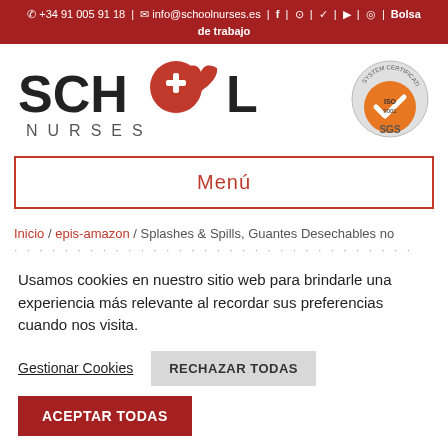📞 +34 91 005 91 18 | ✉ info@schoolnurses.es | f | 🔘 | 🐦 | ▶ | 📱 | Bolsa de trabajo
[Figure (logo): School Nurses logo with cross and heart icons, plus SGS ISO 9001 certification badge]
Menú
Inicio / epis-amazon / Splashes & Spills, Guantes Desechables no ...
Usamos cookies en nuestro sitio web para brindarle una experiencia más relevante al recordar sus preferencias cuando nos visita.
Gestionar Cookies | RECHAZAR TODAS | ACEPTAR TODAS